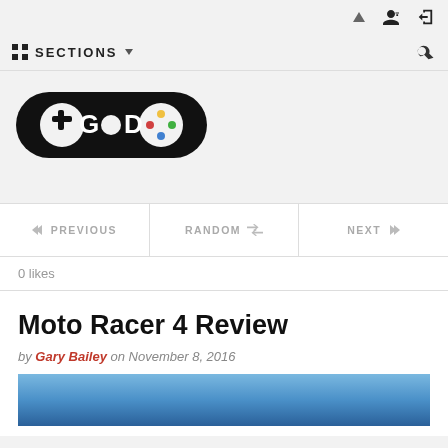Navigation icons: up, add user, login
:: SECTIONS ↓  🔍
[Figure (logo): Game Democracy logo: stylized game controller icon with 'GD' text in black]
◄◄ PREVIOUS  |  RANDOM ⇌  |  NEXT ►►
0 likes
Moto Racer 4 Review
by Gary Bailey on November 8, 2016
[Figure (photo): Blue sky photo preview at the bottom of the article]